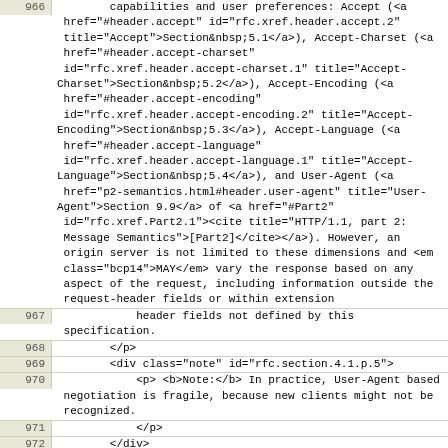966: capabilities and user preferences: Accept (<a href="#header.accept" id="rfc.xref.header.accept.2" title="Accept">Section&nbsp;5.1</a>), Accept-Charset (<a href="#header.accept-charset" id="rfc.xref.header.accept-charset.1" title="Accept-Charset">Section&nbsp;5.2</a>), Accept-Encoding (<a href="#header.accept-encoding" id="rfc.xref.header.accept-encoding.2" title="Accept-Encoding">Section&nbsp;5.3</a>), Accept-Language (<a href="#header.accept-language" id="rfc.xref.header.accept-language.1" title="Accept-Language">Section&nbsp;5.4</a>), and User-Agent (<a href="p2-semantics.html#header.user-agent" title="User-Agent">Section 9.9</a> of <a href="#Part2" id="rfc.xref.Part2.1"><cite title="HTTP/1.1, part 2: Message Semantics">[Part2]</cite></a>). However, an origin server is not limited to these dimensions and <em class="bcp14">MAY</em> vary the response based on any aspect of the request, including information outside the request-header fields or within extension
967:         header fields not defined by this specification.
968:         </p>
969:         <div class="note" id="rfc.section.4.1.p.5">
970:             <p> <b>Note:</b> In practice, User-Agent based negotiation is fragile, because new clients might not be recognized.
971:             </p>
972:         </div>
973:         <p id="rfc.section.4.1.p.6">The Vary header field (<a href="p6-cache.html#header.vary" title="Vary">Section 3.5</a> of <a href="#Part6" id="rfc.xref.Part6.3"><cite title="HTTP/1.1, part 6: Caching">[Part6]</cite></a>) can be used to express the parameters the server uses to select a representation that is subject to server-driven negotiation.